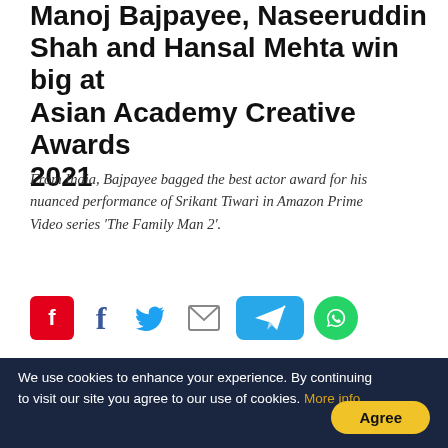Manoj Bajpayee, Naseeruddin Shah and Hansal Mehta win big at Asian Academy Creative Awards 2021
From India, Bajpayee bagged the best actor award for his nuanced performance of Srikant Tiwari in Amazon Prime Video series 'The Family Man 2'.
[Figure (infographic): Social sharing icons: Flipboard (red), Facebook (blue f), Twitter (blue bird), Email (envelope), Telegram (blue rounded rectangle with arrow), WhatsApp (green circle)]
Published: 04th December 2021 03:33 PM  |  Last Updated: 04th December 2021 03:33 PM  🖨 | A+ A  A-
[Figure (photo): Two photos side by side: left shows an older man with white/grey hair near a wooden cabinet, right shows a younger man outdoors with trees in background. An advertisement overlay reads 'Up To $110 Off Instant'.]
We use cookies to enhance your experience. By continuing to visit our site you agree to our use of cookies. More info